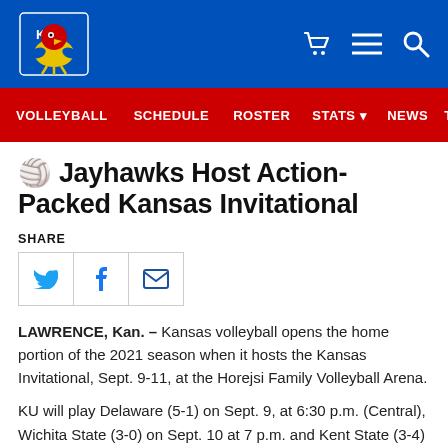KU Athletics — Volleyball
🏐 Jayhawks Host Action-Packed Kansas Invitational
SHARE
[Figure (other): Social share buttons: Twitter, Facebook, Email]
LAWRENCE, Kan. – Kansas volleyball opens the home portion of the 2021 season when it hosts the Kansas Invitational, Sept. 9-11, at the Horejsi Family Volleyball Arena.
KU will play Delaware (5-1) on Sept. 9, at 6:30 p.m. (Central), Wichita State (3-0) on Sept. 10 at 7 p.m. and Kent State (3-4) Sept...